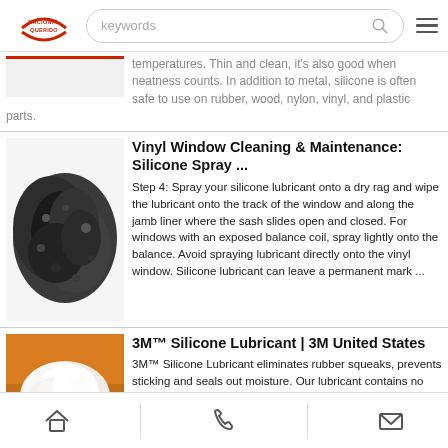Nacional Querido - keywords search bar
temperatures. Thin and clean, it's also good when neatness counts. In addition to metal, silicone is often safe to use on rubber, wood, nylon, vinyl, and plastic parts.
Vinyl Window Cleaning & Maintenance: Silicone Spray ...
Step 4: Spray your silicone lubricant onto a dry rag and wipe the lubricant onto the track of the window and along the jamb liner where the sash slides open and closed. For windows with an exposed balance coil, spray lightly onto the balance. Avoid spraying lubricant directly onto the vinyl window. Silicone lubricant can leave a permanent mark ...
[Figure (photo): Dark gray crumbled material (steel wool or similar) on white background]
3M™ Silicone Lubricant | 3M United States
3M™ Silicone Lubricant eliminates rubber squeaks, prevents sticking and seals out moisture. Our lubricant contains no
[Figure (photo): White powdery/fluffy material on an orange background]
Home | Phone | Mail navigation icons